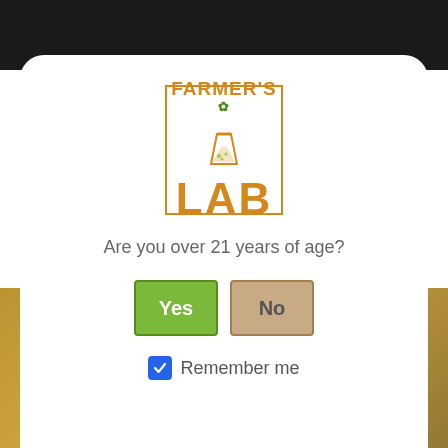[Figure (logo): Farmer's Lab logo: orange bordered box with 'FARMER'S' text and green cannabis leaf, 'LAB' in large orange letters, flask icon below]
Are you over 21 years of age?
Yes | No (buttons)
Remember me